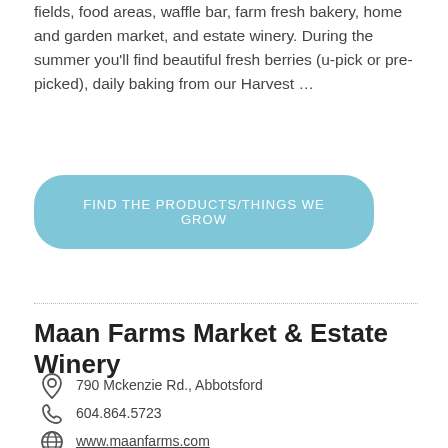fields, food areas, waffle bar, farm fresh bakery, home and garden market, and estate winery. During the summer you'll find beautiful fresh berries (u-pick or pre-picked), daily baking from our Harvest …
FIND THE PRODUCTS/THINGS WE GROW
Maan Farms Market & Estate Winery
790 Mckenzie Rd., Abbotsford
604.864.5723
www.maanfarms.com
Everyone is welcome on the farm! Our 80 acre family run farm is a place to build new memories, connections, and experience life on the farm. We offer two play areas, a jumping pillow, pedal go-kart track and a scenic …